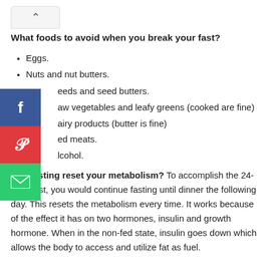What foods to avoid when you break your fast?
Eggs.
Nuts and nut butters.
Seeds and seed butters.
Raw vegetables and leafy greens (cooked are fine)
Dairy products (butter is fine)
Cured meats.
Alcohol.
Can fasting reset your metabolism? To accomplish the 24-hour fast, you would continue fasting until dinner the following day. This resets the metabolism every time. It works because of the effect it has on two hormones, insulin and growth hormone. When in the non-fed state, insulin goes down which allows the body to access and utilize fat as fuel.